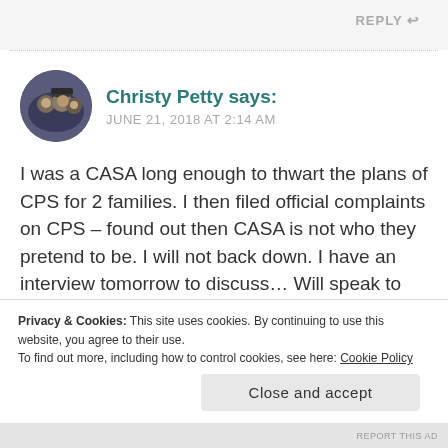REPLY
[Figure (photo): Circular avatar photo of Christy Petty showing a group of people]
Christy Petty says:
JUNE 21, 2018 AT 2:14 AM
I was a CASA long enough to thwart the plans of CPS for 2 families. I then filed official complaints on CPS – found out then CASA is not who they pretend to be. I will not back down. I have an interview tomorrow to discuss… Will speak to whom ever I can.
Privacy & Cookies: This site uses cookies. By continuing to use this website, you agree to their use.
To find out more, including how to control cookies, see here: Cookie Policy
Close and accept